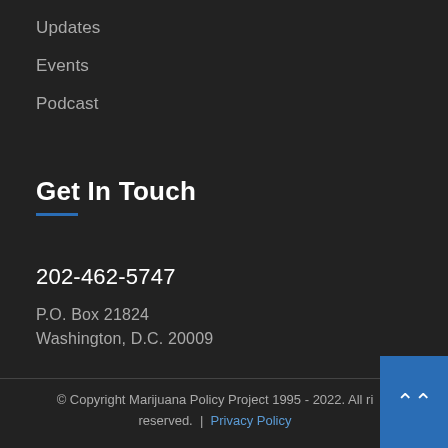Updates
Events
Podcast
Get In Touch
202-462-5747
P.O. Box 21824
Washington, D.C. 20009
© Copyright Marijuana Policy Project 1995 - 2022. All rights reserved. | Privacy Policy